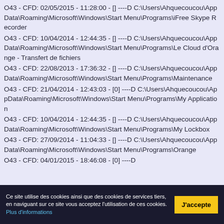O43 - CFD: 02/05/2015 - 11:28:00 - [] ----D C:\Users\Ahquecoucou\AppData\Roaming\Microsoft\Windows\Start Menu\Programs\iFree Skype Recorder
O43 - CFD: 10/04/2014 - 12:44:35 - [] ----D C:\Users\Ahquecoucou\AppData\Roaming\Microsoft\Windows\Start Menu\Programs\Le Cloud d'Orange - Transfert de fichiers
O43 - CFD: 22/08/2013 - 17:36:32 - [] ----D C:\Users\Ahquecoucou\AppData\Roaming\Microsoft\Windows\Start Menu\Programs\Maintenance
O43 - CFD: 21/04/2014 - 12:43:03 - [0] ----D C:\Users\Ahquecoucou\AppData\Roaming\Microsoft\Windows\Start Menu\Programs\My Application
O43 - CFD: 10/04/2014 - 12:44:35 - [] ----D C:\Users\Ahquecoucou\AppData\Roaming\Microsoft\Windows\Start Menu\Programs\My Lockbox
O43 - CFD: 27/09/2014 - 11:04:33 - [] ----D C:\Users\Ahquecoucou\AppData\Roaming\Microsoft\Windows\Start Menu\Programs\Orange
O43 - CFD: 04/01/2015 - 18:46:08 - [0] ----D
Ce site utilise des cookies ainsi que des cookies de services tiers, en naviguant sur ce site vous acceptez l'utilisation de ces cookies. Plus d'informations